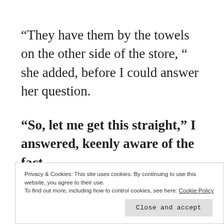“They have them by the towels on the other side of the store, “ she added, before I could answer her question.
“So, let me get this straight,” I answered, keenly aware of the fact
Privacy & Cookies: This site uses cookies. By continuing to use this website, you agree to their use.
To find out more, including how to control cookies, see here: Cookie Policy
Close and accept